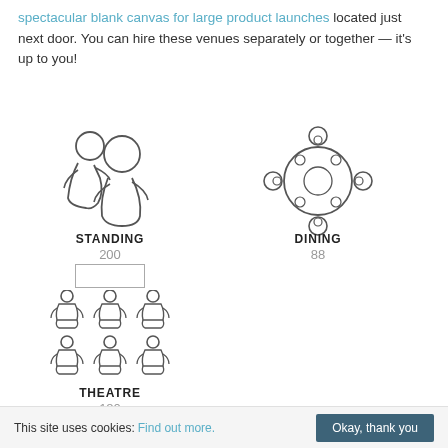spectacular blank canvas for large product launches located just next door. You can hire these venues separately or together — it's up to you!
[Figure (illustration): Standing arrangement icon: two overlapping circles with person silhouettes]
STANDING
200
[Figure (illustration): Rectangle icon representing a table/screen for theatre layout]
[Figure (illustration): Theatre seating icons: 6 person silhouettes in 2 rows of 3]
[Figure (illustration): Dining arrangement icon: round table with 5 seats]
DINING
88
THEATRE
180
This site uses cookies: Find out more. Okay, thank you